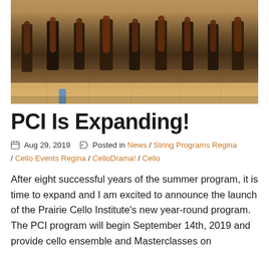[Figure (photo): Group of students holding cellos in a gymnasium or hall, photographed from waist down, showing wooden floor and cello instruments]
PCI Is Expanding!
Aug 29, 2019   Posted in News / String Programs Regina / Cello Events Regina / CelloDrama! / Cello
After eight successful years of the summer program, it is time to expand and I am excited to announce the launch of the Prairie Cello Institute's new year-round program. The PCI program will begin September 14th, 2019 and provide cello ensemble and Masterclasses on